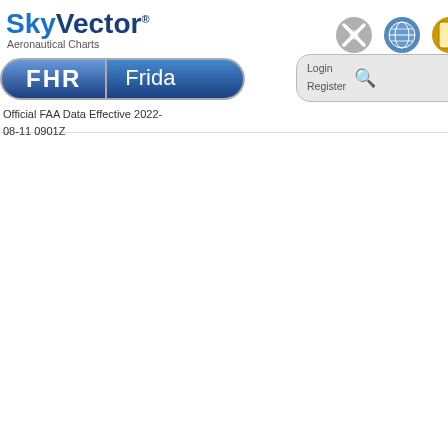SkyVector® Aeronautical Charts — Airports | Charts | Help | Fuel Prices
FHR  Frida
Login
Register
Official FAA Data Effective 2022-08-11 0901Z
[Figure (screenshot): Document thumbnail showing text page with PDF icon]
[Figure (screenshot): Partial document thumbnail on right edge]
Instrument Approach Proc...
RNAV (GPS) RWY 34
NDB R...
[Figure (screenshot): RNAV (GPS) RWY 34 approach chart thumbnail with PDF icon]
[Figure (screenshot): NDB approach chart thumbnail partial view]
Nearby Airports with Instru...
ID        Name